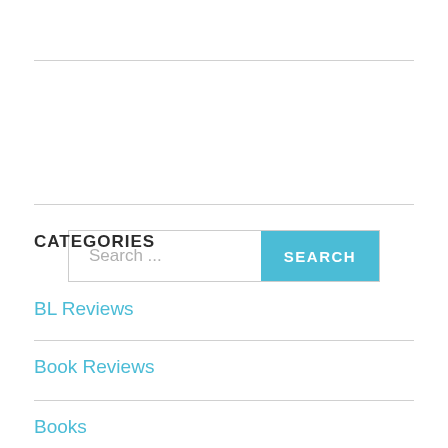[Figure (screenshot): Search bar with text input placeholder 'Search ...' and a blue 'SEARCH' button on the right]
CATEGORIES
BL Reviews
Book Reviews
Books